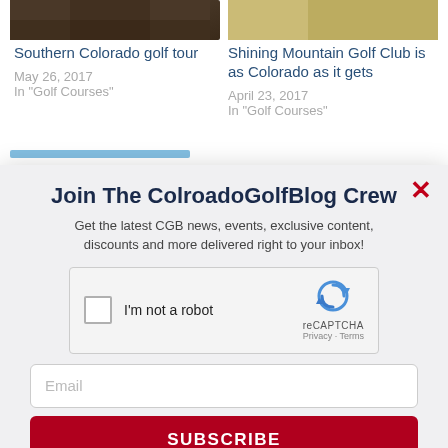[Figure (photo): Thumbnail photo for Southern Colorado golf tour article]
Southern Colorado golf tour
May 26, 2017
In "Golf Courses"
[Figure (photo): Thumbnail photo for Shining Mountain Golf Club article]
Shining Mountain Golf Club is as Colorado as it gets
April 23, 2017
In "Golf Courses"
Join The ColroadoGolfBlog Crew
Get the latest CGB news, events, exclusive content, discounts and more delivered right to your inbox!
[Figure (screenshot): reCAPTCHA widget with checkbox labeled I'm not a robot]
Email
SUBSCRIBE